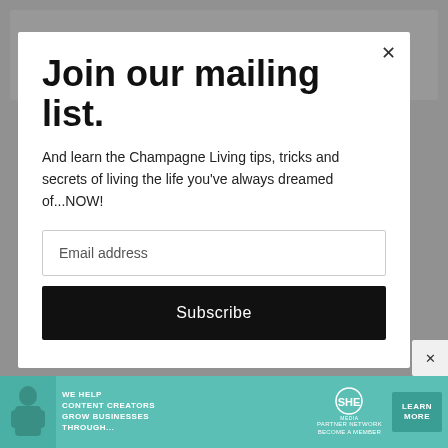CATCHICK1964 SAYS
Join our mailing list.
And learn the Champagne Living tips, tricks and secrets of living the life you've always dreamed of...NOW!
Email address
Subscribe
[Figure (infographic): Advertisement banner: teal background with woman photo, text 'WE HELP CONTENT CREATORS GROW BUSINESSES THROUGH...', SHE Media Partner Network logo, and LEARN MORE button]